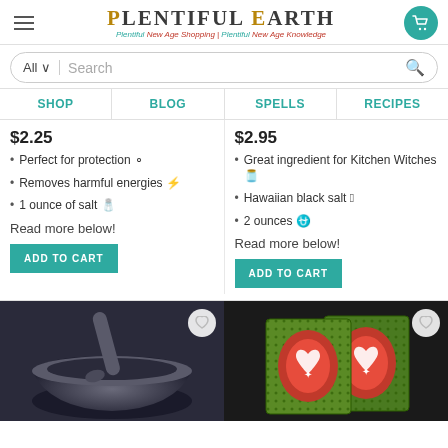Plentiful Earth - Plentiful New Age Shopping | Plentiful New Age Knowledge
Search
SHOP | BLOG | SPELLS | RECIPES
$2.25
Perfect for protection ☉
Removes harmful energies ⚡
1 ounce of salt 🧂
Read more below!
ADD TO CART
$2.95
Great ingredient for Kitchen Witches 🧙
Hawaiian black salt 🖤
2 ounces ♎
Read more below!
ADD TO CART
[Figure (photo): Dark metallic mortar and pestle on white background]
[Figure (photo): Two decorative cards with red heart design on green patterned background]